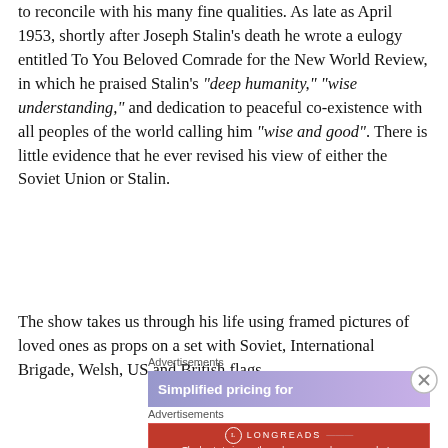to reconcile with his many fine qualities. As late as April 1953, shortly after Joseph Stalin's death he wrote a eulogy entitled To You Beloved Comrade for the New World Review, in which he praised Stalin's "deep humanity," "wise understanding," and dedication to peaceful co-existence with all peoples of the world calling him "wise and good". There is little evidence that he ever revised his view of either the Soviet Union or Stalin.
The show takes us through his life using framed pictures of loved ones as props on a set with Soviet, International Brigade, Welsh, US and British flags.
[Figure (infographic): Advertisements section with two ad banners: one with gradient purple background showing 'Simplified pricing for' text, and one red Longreads banner saying 'The best stories on the web – ours, and everyone else's.' A close button (X circle) appears on the right.]